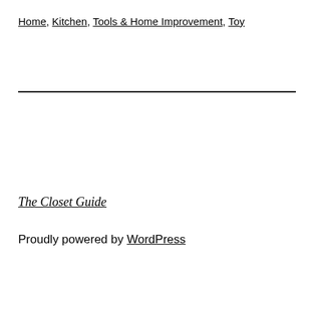Home, Kitchen, Tools & Home Improvement, Toy
The Closet Guide
Proudly powered by WordPress